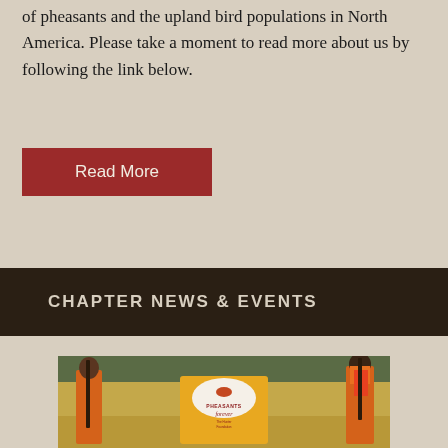of pheasants and the upland bird populations in North America. Please take a moment to read more about us by following the link below.
Read More
CHAPTER NEWS & EVENTS
[Figure (photo): Two young people in orange hunting vests holding shotguns at a shooting range, standing in front of a yellow Pheasants Forever banner. A field and treeline visible in the background.]